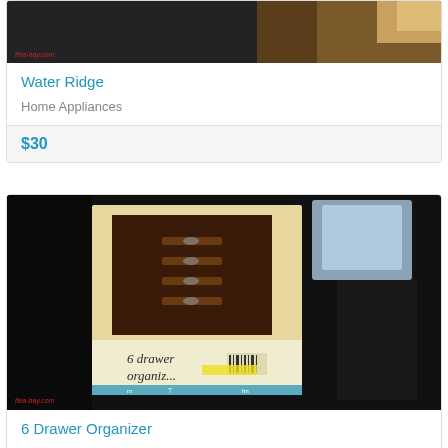[Figure (photo): Product photo of Water Ridge home appliance item on dark surface with watermark logo]
Water Ridge
Home Appliances
$30
[Figure (photo): Product photo of 6 Drawer Organizer box on dark surface showing furniture drawer organizer packaging]
6 Drawer Organizer
Furniture
$40